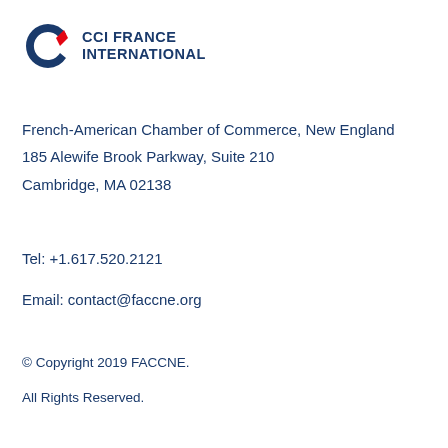[Figure (logo): CCI France International logo with blue/red C-arrow icon and blue text reading CCI FRANCE INTERNATIONAL]
French-American Chamber of Commerce, New England
185 Alewife Brook Parkway, Suite 210
Cambridge, MA 02138
Tel: +1.617.520.2121
Email: contact@faccne.org
© Copyright 2019 FACCNE.
All Rights Reserved.